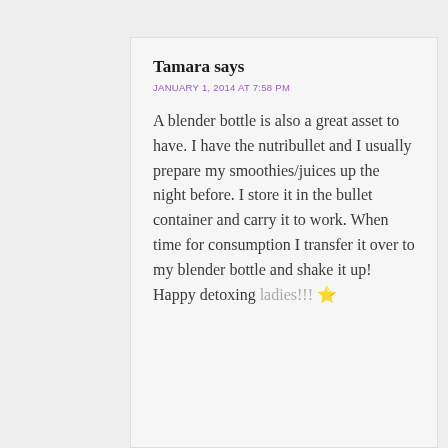Tamara says
JANUARY 1, 2014 AT 7:58 PM
A blender bottle is also a great asset to have. I have the nutribullet and I usually prepare my smoothies/juices up the night before. I store it in the bullet container and carry it to work. When time for consumption I transfer it over to my blender bottle and shake it up! Happy detoxing ladies!!! 🌟